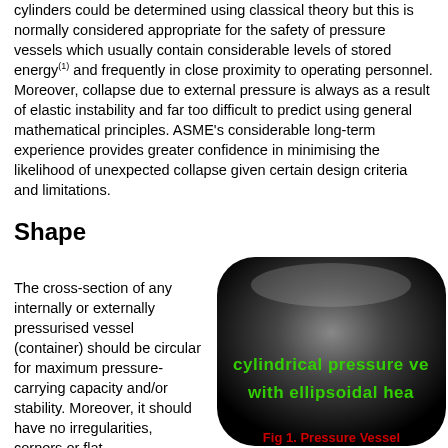cylinders could be determined using classical theory but this is normally considered appropriate for the safety of pressure vessels which usually contain considerable levels of stored energy(1) and frequently in close proximity to operating personnel. Moreover, collapse due to external pressure is always as a result of elastic instability and far too difficult to predict using general mathematical principles. ASME's considerable long-term experience provides greater confidence in minimising the likelihood of unexpected collapse given certain design criteria and limitations.
Shape
The cross-section of any internally or externally pressurised vessel (container) should be circular for maximum pressure-carrying capacity and/or stability. Moreover, it should have no irregularities, corners or flat
[Figure (illustration): A cylindrical pressure vessel with ellipsoidal heads shown in dark/black rounded 3D render with green bold text overlay reading 'cylindrical pressure ve...' and 'with ellipsoidal hea...' (text partially cut off)]
Fig 1. Pressure Vessel